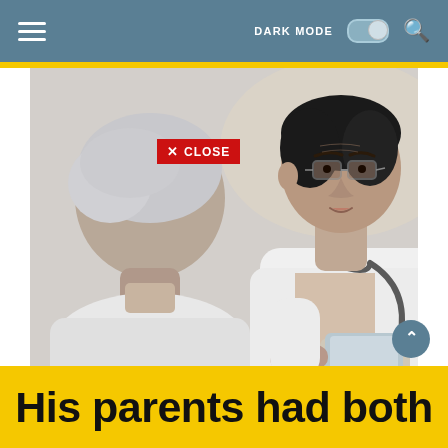≡  DARK MODE  🔍
[Figure (photo): A doctor wearing a white coat and stethoscope, holding a tablet, speaking to an elderly patient. Both appear to be of Asian descent. The doctor is facing the camera while the patient's back is turned.]
✕ CLOSE
His parents had both